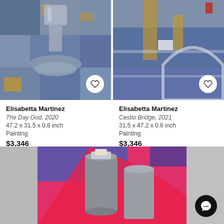[Figure (photo): Abstract painting 'The Day God 2020' by Elisabetta Martinez - blue and gold tones with abstract face/lips motif]
Elisabetta Martinez
The Day God, 2020
47.2 x 31.5 x 0.8 inch
Painting
$3,346
[Figure (photo): Abstract painting 'Cestio Bridge 2021' by Elisabetta Martinez - blue and gold tones with architectural arch motif]
Elisabetta Martinez
Cestio Bridge, 2021
31.5 x 47.2 x 0.8 inch
Painting
$3,346
[Figure (photo): Abstract painting with vibrant pink/magenta and blue background with grey cylindrical sculptural forms, partially visible at bottom of page]